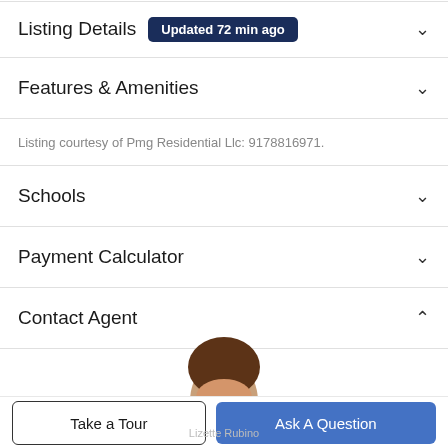Listing Details Updated 72 min ago
Features & Amenities
Listing courtesy of Pmg Residential Llc: 9178816971.
Schools
Payment Calculator
Contact Agent
[Figure (photo): Partial photo of a real estate agent (Lizette Rubino), showing top of head with brown hair]
Lizette Rubino
Take a Tour
Ask A Question